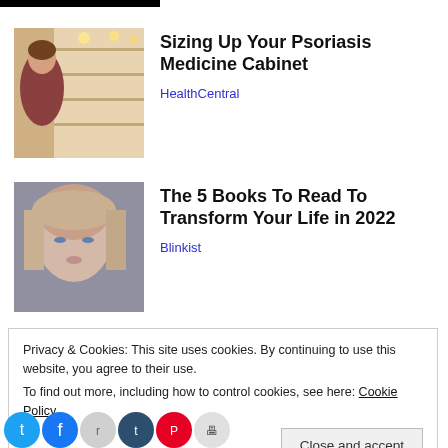[Figure (photo): Person shopping in a pharmacy/store aisle, reaching for product on shelf]
Sizing Up Your Psoriasis Medicine Cabinet
HealthCentral
[Figure (photo): Close-up portrait of a blonde woman looking upward]
The 5 Books To Read To Transform Your Life in 2022
Blinkist
Privacy & Cookies: This site uses cookies. By continuing to use this website, you agree to their use.
To find out more, including how to control cookies, see here: Cookie Policy
Close and accept